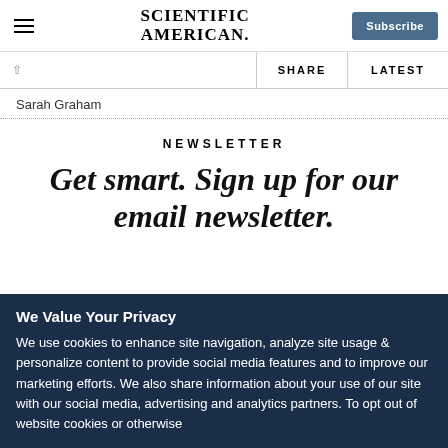Scientific American | Subscribe
SHARE | LATEST
Sarah Graham
NEWSLETTER
Get smart. Sign up for our email newsletter.
We Value Your Privacy
We use cookies to enhance site navigation, analyze site usage & personalize content to provide social media features and to improve our marketing efforts. We also share information about your use of our site with our social media, advertising and analytics partners. To opt out of website cookies or otherwise manage your cookie settings, click on Cookie Settings. View our